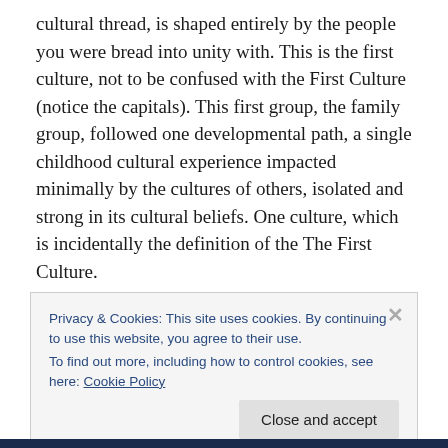cultural thread, is shaped entirely by the people you were bread into unity with. This is the first culture, not to be confused with the First Culture (notice the capitals). This first group, the family group, followed one developmental path, a single childhood cultural experience impacted minimally by the cultures of others, isolated and strong in its cultural beliefs. One culture, which is incidentally the definition of the The First Culture.
Then, you move. Once, twice, ten, twenty times. You leave the security of the individual First Culture, taking your
Privacy & Cookies: This site uses cookies. By continuing to use this website, you agree to their use.
To find out more, including how to control cookies, see here: Cookie Policy